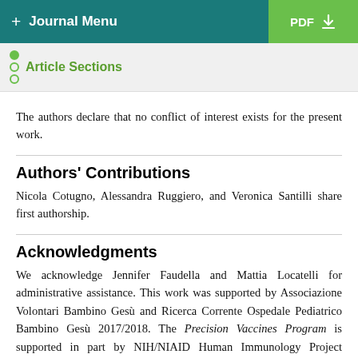+ Journal Menu | PDF
Article Sections
The authors declare that no conflict of interest exists for the present work.
Authors' Contributions
Nicola Cotugno, Alessandra Ruggiero, and Veronica Santilli share first authorship.
Acknowledgments
We acknowledge Jennifer Faudella and Mattia Locatelli for administrative assistance. This work was supported by Associazione Volontari Bambino Gesù and Ricerca Corrente Ospedale Pediatrico Bambino Gesù 2017/2018. The Precision Vaccines Program is supported in part by NIH/NIAID Human Immunology Project Consortium U19 AI118608 and an internal